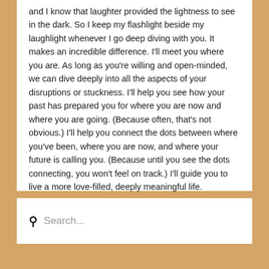and I know that laughter provided the lightness to see in the dark. So I keep my flashlight beside my laughlight whenever I go deep diving with you. It makes an incredible difference. I'll meet you where you are. As long as you're willing and open-minded, we can dive deeply into all the aspects of your disruptions or stuckness. I'll help you see how your past has prepared you for where you are now and where you are going. (Because often, that's not obvious.) I'll help you connect the dots between where you've been, where you are now, and where your future is calling you. (Because until you see the dots connecting, you won't feel on track.) I'll guide you to live a more love-filled, deeply meaningful life.
Search...